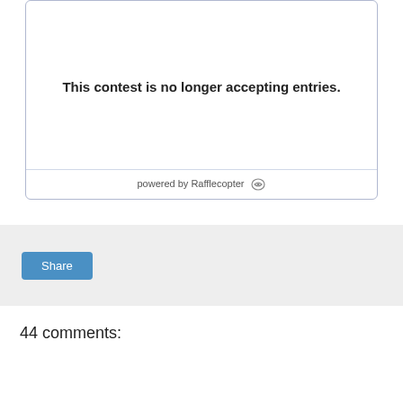This contest is no longer accepting entries.
powered by Rafflecopter
Share
44 comments: